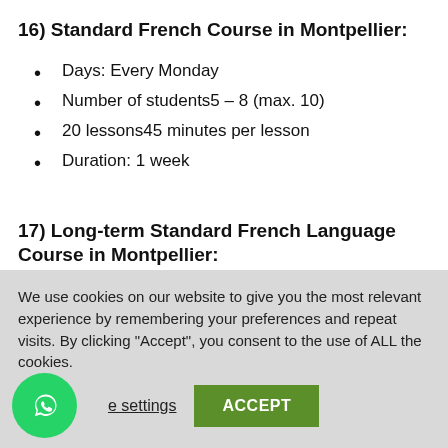16) Standard French Course in Montpellier:
Days: Every Monday
Number of students5 – 8 (max. 10)
20 lessons45 minutes per lesson
Duration: 1 week
17) Long-term Standard French Language Course in Montpellier:
Days: Every Monday
Students: 5 – 8 (max. 10)
We use cookies on our website to give you the most relevant experience by remembering your preferences and repeat visits. By clicking “Accept”, you consent to the use of ALL the cookies.
e settings   ACCEPT